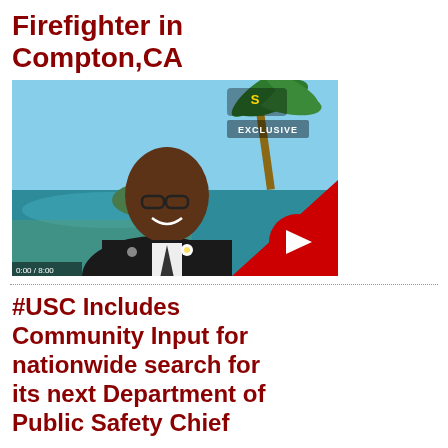Firefighter in Compton,CA
[Figure (photo): Video thumbnail showing a man in a suit with a beach and palm tree background, with a YouTube play button overlay in a red triangle in the bottom-right corner. Small text reads 'EXCLUSIVE' in the top right area.]
#USC Includes Community Input for nationwide search for its next Department of Public Safety Chief